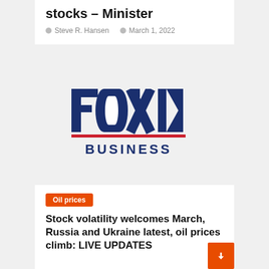stocks – Minister
Steve R. Hansen   March 1, 2022
[Figure (logo): Fox Business logo — bold dark blue letters spelling FOX with a stylized arrow/chevron, red underline, and BUSINESS text below]
Oil prices
Stock volatility welcomes March, Russia and Ukraine latest, oil prices climb: LIVE UPDATES